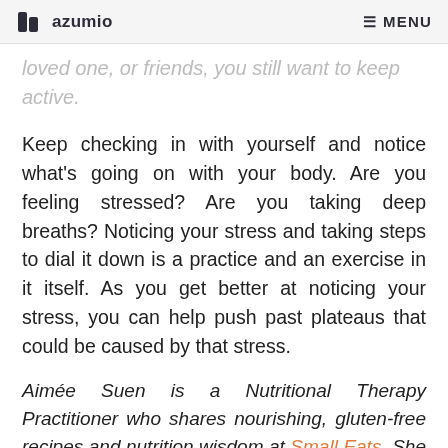azumio   MENU
loved one, or friends, you still want to keep active.
Keep checking in with yourself and notice what's going on with your body. Are you feeling stressed? Are you taking deep breaths? Noticing your stress and taking steps to dial it down is a practice and an exercise in it itself. As you get better at noticing your stress, you can help push past plateaus that could be caused by that stress.
Aimée Suen is a Nutritional Therapy Practitioner who shares nourishing, gluten-free recipes and nutrition wisdom at Small Eats. She is driven to help others enjoy whole foods and empower